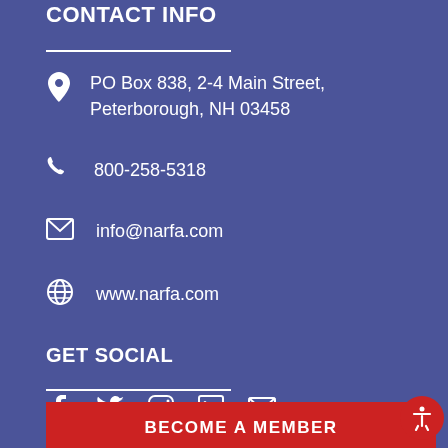CONTACT INFO
PO Box 838, 2-4 Main Street, Peterborough, NH 03458
800-258-5318
info@narfa.com
www.narfa.com
GET SOCIAL
[Figure (infographic): Social media icons: Facebook, Twitter, Instagram, LinkedIn, Email]
BECOME A MEMBER